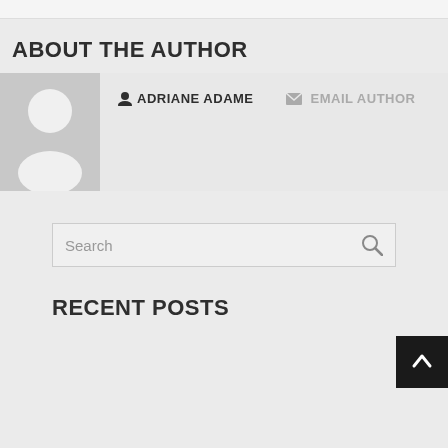ABOUT THE AUTHOR
[Figure (photo): Default user avatar placeholder — grey silhouette of a person on a light grey background]
ADRIANE ADAME   EMAIL AUTHOR
Search
RECENT POSTS